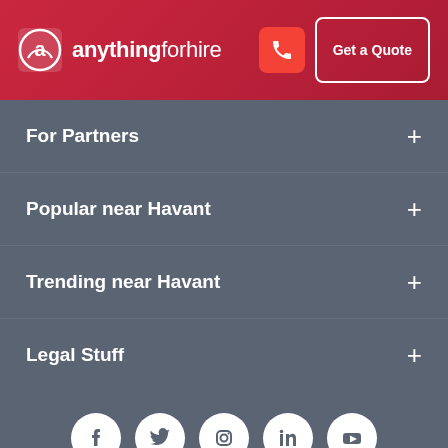anythingforhire - Get a Quote
For Partners +
Popular near Havant +
Trending near Havant +
Legal Stuff +
[Figure (other): Social media icons row: Facebook, Twitter, Instagram, LinkedIn, YouTube]
©2022 Copyright AFH
Live Chat Online